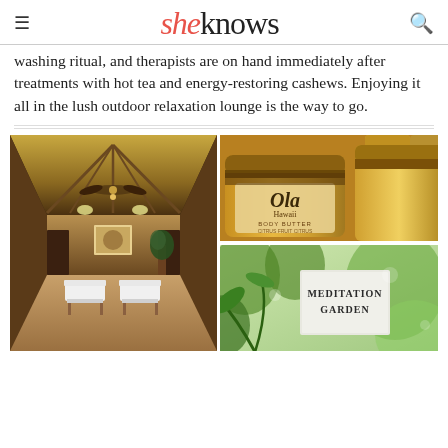sheknows
washing ritual, and therapists are on hand immediately after treatments with hot tea and energy-restoring cashews. Enjoying it all in the lush outdoor relaxation lounge is the way to go.
[Figure (photo): Spa treatment room with vaulted ceiling, ceiling fan, warm lighting, and two massage tables with white linens]
[Figure (photo): Close-up of Ola Hawaii brand body butter jar in gold packaging with citrus scent, surrounded by other product jars]
[Figure (photo): Meditation Garden sign in lush tropical garden setting with plants and dappled light]